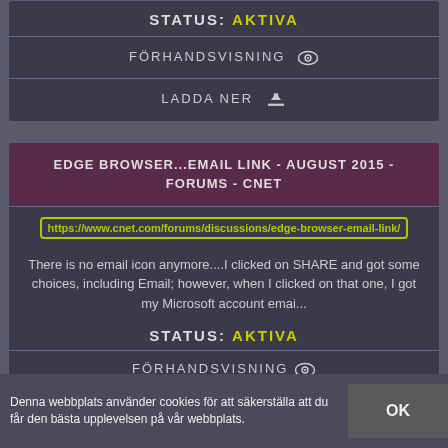STATUS: AKTIVA
FÖRHANDSVISNING
LADDA NER
EDGE BROWSER...EMAIL LINK - AUGUST 2015 - FORUMS - CNET
https://www.cnet.com/forums/discussions/edge-browser-email-link/
There is no email icon anymore....I clicked on SHARE and got some choices, including Email; however, when I clicked on that one, I got my Microsoft account emai...
STATUS: AKTIVA
FÖRHANDSVISNING
Denna webbplats använder cookies för att säkerställa att du får den bästa upplevelsen på vår webbplats.